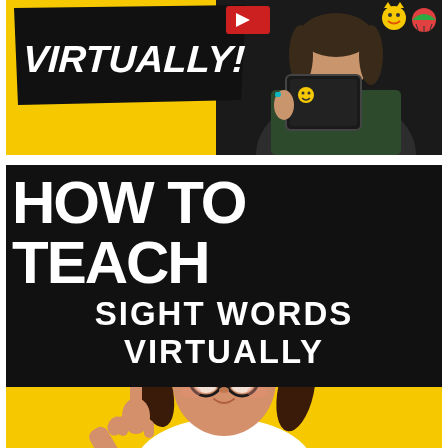[Figure (illustration): Top banner with yellow background, black diagonal shape with bold italic white text 'VIRTUALLY!' and a red rectangle, plus a dark area on the right showing a teacher/woman holding a tablet with emoji stickers]
HOW TO TEACH SIGHT WORDS VIRTUALLY
[Figure (photo): Young girl with dark pigtails, hair bows, large round black glasses, wearing white top, pointing upward with one finger and smiling, on a bright yellow background]